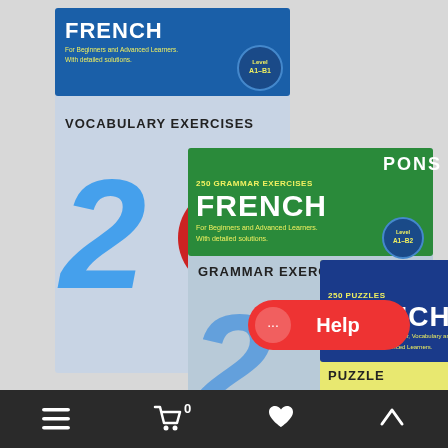[Figure (photo): Three PONS French language learning books overlapping: (1) PONS 250 Vocabulary Exercises French book (blue cover, back-left), (2) PONS 250 Grammar Exercises French book (green/dark blue cover, middle), (3) PONS 250 Puzzles French book (dark blue/yellow cover, front-right). Each book shows '250' in large blue numerals and a red circle. A red Help chat button is visible bottom-right.]
≡  🛒 0  ♥  ∧